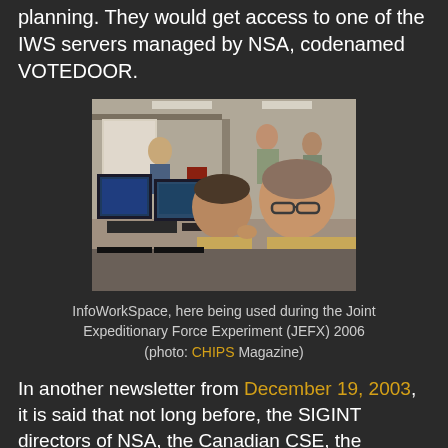planning. They would get access to one of the IWS servers managed by NSA, codenamed VOTEDOOR.
[Figure (photo): People working at computer workstations with multiple monitors in an office environment, used during the Joint Expeditionary Force Experiment (JEFX) 2006]
InfoWorkSpace, here being used during the Joint Expeditionary Force Experiment (JEFX) 2006 (photo: CHIPS Magazine)
In another newsletter from December 19, 2003, it is said that not long before, the SIGINT directors of NSA, the Canadian CSE, the Australian DSD and New Zealand's GCSB held their first virtual meeting using the InfoWorkSpace tool. However,